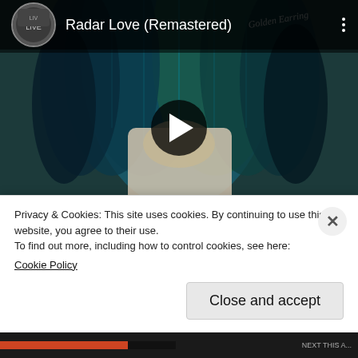[Figure (screenshot): YouTube video thumbnail showing 'Radar Love (Remastered)' by Golden Earring. Album cover with woman holding large teal feathers obscuring her face. YouTube player bar with channel thumbnail, title, and three-dot menu. Play button overlay in center.]
Radar Love became Golden Earring's biggest hit. In addition to topping the charts in The
Privacy & Cookies: This site uses cookies. By continuing to use this website, you agree to their use.
To find out more, including how to control cookies, see here:
Cookie Policy
Close and accept